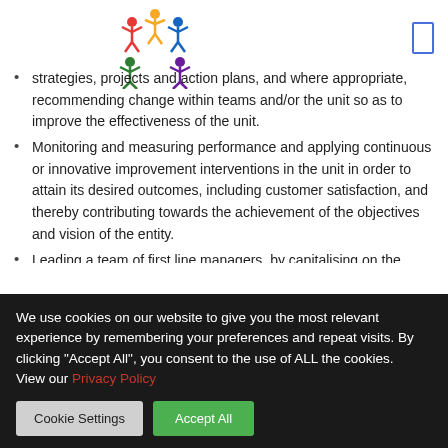[Figure (logo): Colorful logo with stick figures arranged in a circle (red, blue, green, yellow, purple)]
strategies, projects and action plans, and where appropriate, recommending change within teams and/or the unit so as to improve the effectiveness of the unit.
Monitoring and measuring performance and applying continuous or innovative improvement interventions in the unit in order to attain its desired outcomes, including customer satisfaction, and thereby contributing towards the achievement of the objectives and vision of the entity.
Leading a team of first line managers, by capitalising on the
We use cookies on our website to give you the most relevant experience by remembering your preferences and repeat visits. By clicking "Accept All", you consent to the use of ALL the cookies.
View our Privacy Policy
Cookie Settings | Accept All